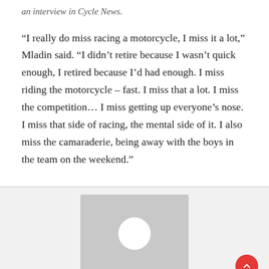an interview in Cycle News.
“I really do miss racing a motorcycle, I miss it a lot,” Mladin said. “I didn’t retire because I wasn’t quick enough, I retired because I’d had enough. I miss riding the motorcycle – fast. I miss that a lot. I miss the competition… I miss getting up everyone’s nose. I miss that side of racing, the mental side of it. I also miss the camaraderie, being away with the boys in the team on the weekend.”
[Figure (photo): Avatar placeholder image with grey background and white circle in center]